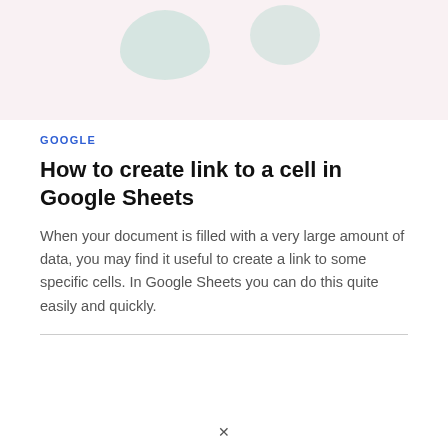[Figure (illustration): Top banner area with soft pink/rose background and two teal/green blob shapes partially visible]
GOOGLE
How to create link to a cell in Google Sheets
When your document is filled with a very large amount of data, you may find it useful to create a link to some specific cells. In Google Sheets you can do this quite easily and quickly.